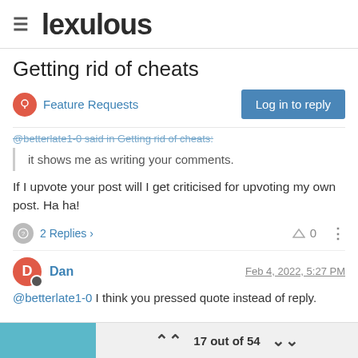lexulous
Getting rid of cheats
Feature Requests
@betterlate1-0 said in Getting rid of cheats:
it shows me as writing your comments.
If I upvote your post will I get criticised for upvoting my own post. Ha ha!
2 Replies  0
Dan  Feb 4, 2022, 5:27 PM
@betterlate1-0 I think you pressed quote instead of reply.
17 out of 54